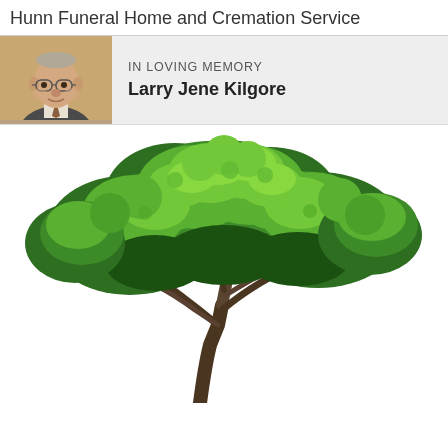Hunn Funeral Home and Cremation Service
IN LOVING MEMORY
Larry Jene Kilgore
[Figure (photo): Large deciduous tree with full green canopy on white background, photographed from ground level showing trunk and spreading branches]
[Figure (photo): Portrait of an elderly man wearing glasses and a suit with tie, warm brown background]